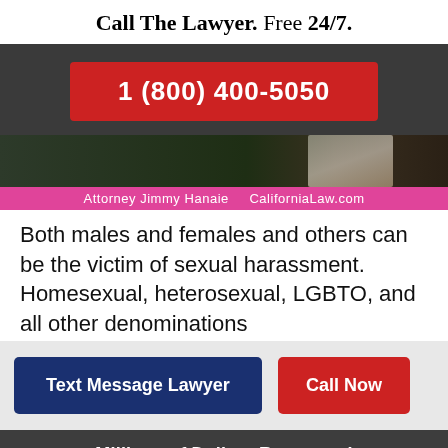Call The Lawyer. Free 24/7.
[Figure (other): Red button showing phone number 1 (800) 400-5050 on dark background banner]
[Figure (photo): Photo of attorney Jimmy Hanaie with pink banner showing 'Attorney Jimmy Hanaie  CaliforniaLaw.com']
Both males and females and others can be the victim of sexual harassment. Homesexual, heterosexual, LGBTO, and all other denominations
[Figure (other): Two call-to-action buttons: 'Text Message Lawyer' (dark blue) and 'Call Now' (red) on gray background]
Millions of Dollars Recovered